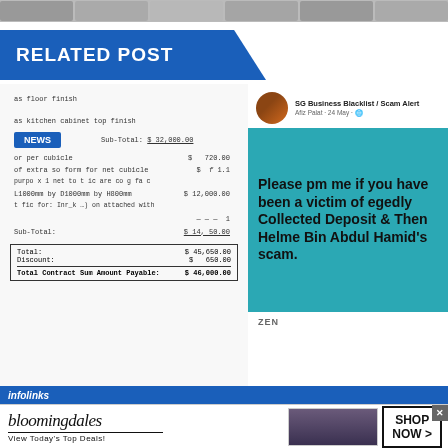[Figure (screenshot): Top strip with blurred profile images]
RELATED POST
[Figure (screenshot): Left panel: partial receipt/quote document showing floor finish, kitchen cabinet top finish, sub-totals, total $45,650.00, discount $650.00, Total Contract Sum Amount Payable $46,000.00, with NEWS badge overlay]
[Figure (screenshot): Right panel: Facebook post by SG Business Blacklist / Scam Alert, Afiz Palat, 24 May, with teal background text: Please pm me if you have been a victim of Allegedly Collected Deposit & Then Helme Bin Abdul Hamid's scam.]
[Figure (screenshot): infolinks bar and Bloomingdale's advertisement banner: bloomingdales, View Today's Top Deals!, SHOP NOW >]
infolinks
bloomingdales - View Today's Top Deals!
SHOP NOW >